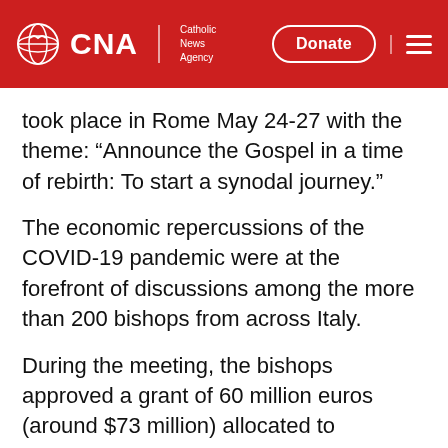CNA | Catholic News Agency — Donate
took place in Rome May 24-27 with the theme: “Announce the Gospel in a time of rebirth: To start a synodal journey.”
The economic repercussions of the COVID-19 pandemic were at the forefront of discussions among the more than 200 bishops from across Italy.
During the meeting, the bishops approved a grant of 60 million euros (around $73 million) allocated to dioceses to be used before the end of February 2022.
The bishops also passed resolutions on local